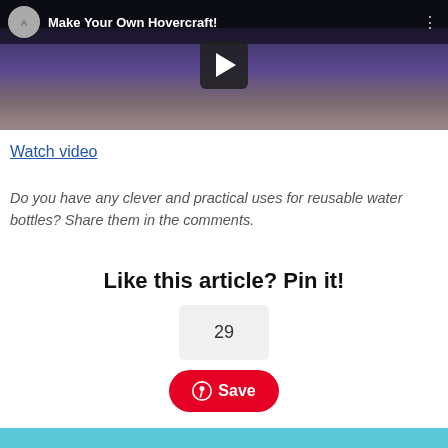[Figure (screenshot): YouTube video thumbnail showing two people sitting on floor with title 'Make Your Own Hovercraft!' and a play button overlay]
Watch video
Do you have any clever and practical uses for reusable water bottles? Share them in the comments.
Like this article? Pin it!
29
Save
[Figure (other): Light blue bar at bottom of page]